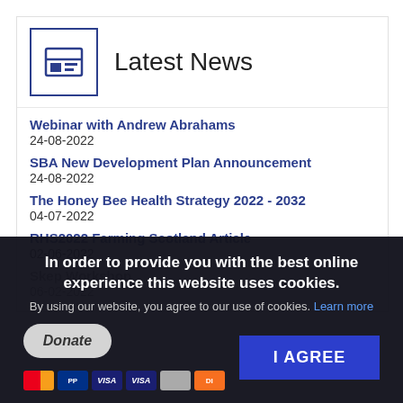Latest News
Webinar with Andrew Abrahams
24-08-2022
SBA New Development Plan Announcement
24-08-2022
The Honey Bee Health Strategy 2022 - 2032
04-07-2022
RHS2022 Farming Scotland Article
02-06-2022
Skep Workshop
06-02-2022
In order to provide you with the best online experience this website uses cookies.
By using our website, you agree to our use of cookies. Learn more
I AGREE